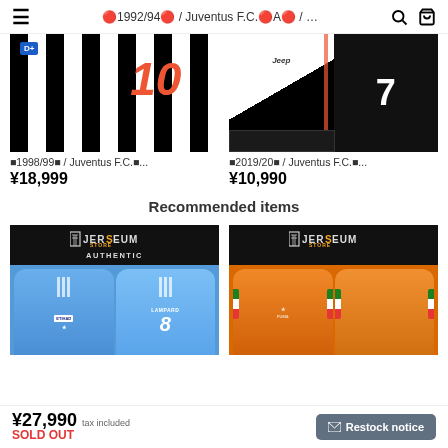≪1992/94≫ / Juventus F.C.㊙A≫ / ...
[Figure (photo): Juventus black and white striped jersey with number 10 in red, D+ badge visible]
≪1998/99≫ / Juventus F.C.㊙...
¥18,999
[Figure (photo): Juventus black and white jersey kit with Jeep sponsor and number 7]
≪2019/20≫ / Juventus F.C.㊙...
¥10,990
Recommended items
[Figure (photo): NYCFC blue Lampard #8 jersey front and back, Jerseum Store authentic]
[Figure (photo): Ivory Coast orange jersey front and back, Jerseum Store]
¥27,990 tax included
SOLD OUT